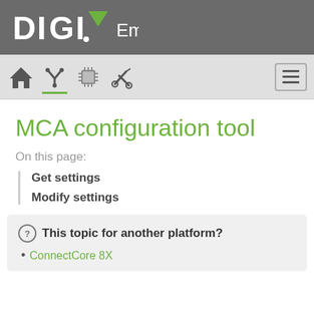[Figure (logo): DIGI Embedded logo — white DIGI text with green triangle accent and 'Embedded' label on dark grey background]
[Figure (screenshot): Navigation bar with home icon, active tools icon (underlined green), chip icon, wrench icon, and hamburger menu button on the right]
MCA configuration tool
On this page:
Get settings
Modify settings
This topic for another platform?
ConnectCore 8X